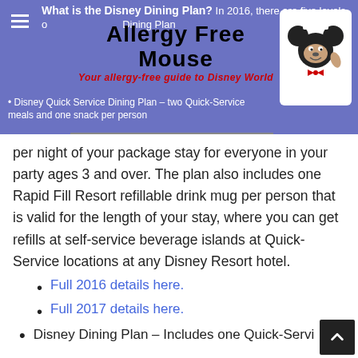What is the Disney Dining Plan? In 2016, there are five levels of the Disney Dining Plan
[Figure (logo): Allergy Free Mouse logo with Mickey Mouse chef character image. Text: Allergy Free Mouse. Subtitle: Your allergy-free guide to Disney World]
Disney Quick Service Dining Plan – two Quick-Service meals and one snack per person per night of your package stay for everyone in your party ages 3 and over. The plan also includes one Rapid Fill Resort refillable drink mug per person that is valid for the length of your stay, where you can get refills at self-service beverage islands at Quick-Service locations at any Disney Resort hotel.
Full 2016 details here.
Full 2017 details here.
Disney Dining Plan – Includes one Quick-Servi…